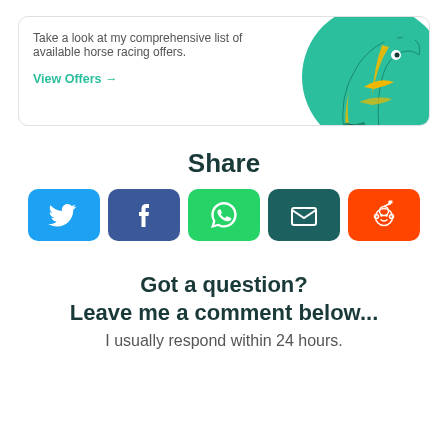[Figure (illustration): Promotional card with text 'Take a look at my comprehensive list of available horse racing offers.' and a 'View Offers →' link, with a teal/green illustrated horse graphic on the right.]
Share
[Figure (infographic): Row of five social share buttons: Twitter (blue), Facebook (dark blue), WhatsApp (green), Email (dark teal), Reddit (orange), each with their respective icons.]
Got a question? Leave me a comment below...
I usually respond within 24 hours.